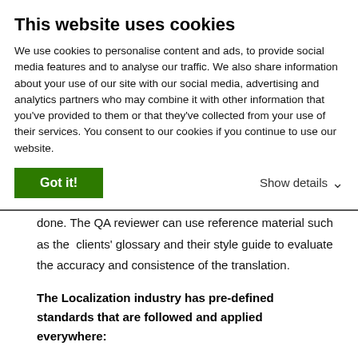This website uses cookies
We use cookies to personalise content and ads, to provide social media features and to analyse our traffic. We also share information about your use of our site with our social media, advertising and analytics partners who may combine it with other information that you've provided to them or that they've collected from your use of their services. You consent to our cookies if you continue to use our website.
Got it!
Show details
STARTING point and takes place once the translation is done. The QA reviewer can use reference material such as the clients' glossary and their style guide to evaluate the accuracy and consistence of the translation.
The Localization industry has pre-defined standards that are followed and applied everywhere:
All content subject to translation must be in a bilingual format first before the translation process takes place.
XIIFF (XML Localization Interchange File Format) is the